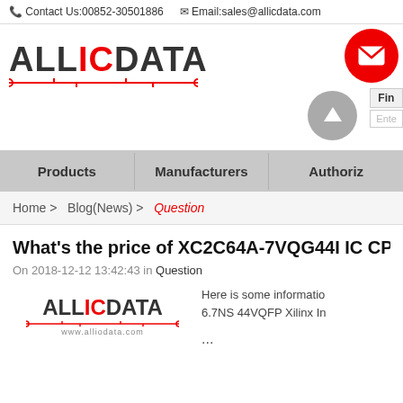Contact Us:00852-30501886   Email:sales@allicdata.com
[Figure (logo): AllICData logo with red IC text and circuit underline, plus red envelope circle button and gray arrow circle button on the right]
Products   Manufacturers   Authoriz
Home > Blog(News) > Question
What's the price of XC2C64A-7VQG44I IC CPLD 64
On 2018-12-12 13:42:43 in Question
[Figure (logo): AllICData small logo with website URL www.alliodata.com]
Here is some information about XC2C64A-7VQG44I IC CPLD 6.7NS 44VQFP Xilinx In ...